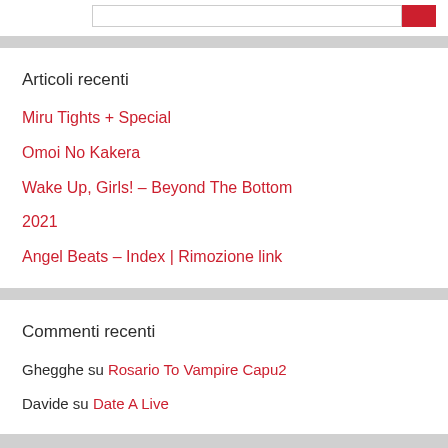Articoli recenti
Miru Tights + Special
Omoi No Kakera
Wake Up, Girls! – Beyond The Bottom
2021
Angel Beats – Index | Rimozione link
Commenti recenti
Ghegghe su Rosario To Vampire Capu2
Davide su Date A Live